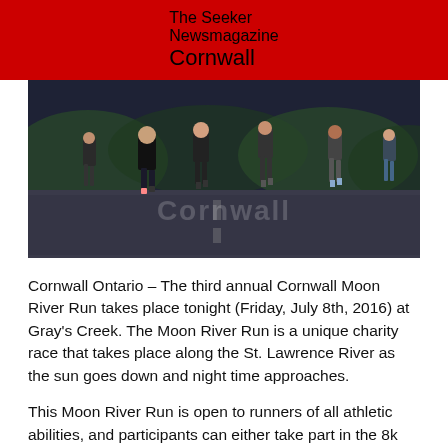The Seeker Newsmagazine Cornwall
[Figure (photo): Runners on a road during a night run event, seen from behind, with legs and lower bodies visible running on a dark asphalt road with greenery in the background.]
Cornwall Ontario – The third annual Cornwall Moon River Run takes place tonight (Friday, July 8th, 2016) at Gray's Creek. The Moon River Run is a unique charity race that takes place along the St. Lawrence River as the sun goes down and night time approaches.
This Moon River Run is open to runners of all athletic abilities, and participants can either take part in the 8k run or the 5K run. After participants finish the race, there will be a pizza party courtesy of Boston Pizza.